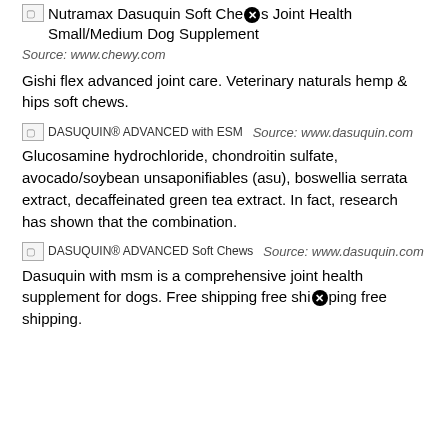Nutramax Dasuquin Soft Chews Joint Health Small/Medium Dog Supplement
Source: www.chewy.com
Gishi flex advanced joint care. Veterinary naturals hemp & hips soft chews.
[Figure (other): Broken image placeholder for DASUQUIN® ADVANCED with ESM with source www.dasuquin.com]
Glucosamine hydrochloride, chondroitin sulfate, avocado/soybean unsaponifiables (asu), boswellia serrata extract, decaffeinated green tea extract. In fact, research has shown that the combination.
[Figure (other): Broken image placeholder for DASUQUIN® ADVANCED Soft Chews with source www.dasuquin.com]
Dasuquin with msm is a comprehensive joint health supplement for dogs. Free shipping free shipping free shipping.